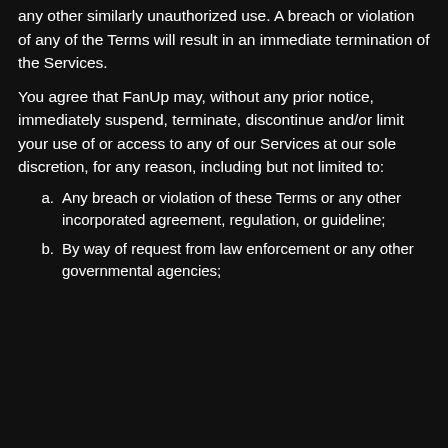any other similarly unauthorized use. A breach or violation of any of the Terms will result in an immediate termination of the Services.
You agree that FanUp may, without any prior notice, immediately suspend, terminate, discontinue and/or limit your use of or access to any of our Services at our sole discretion, for any reason, including but not limited to:
a. Any breach or violation of these Terms or any other incorporated agreement, regulation, or guideline;
b. By way of request from law enforcement or any other governmental agencies;